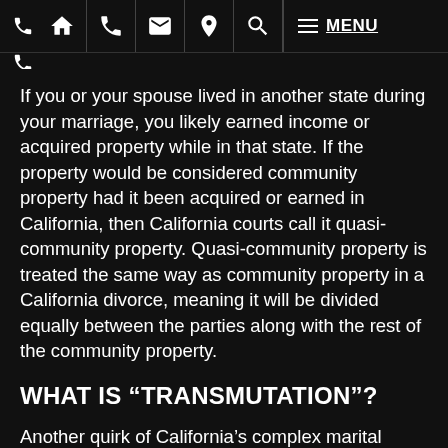[Navigation bar with home, phone, email, location, search, menu icons]
If you or your spouse lived in another state during your marriage, you likely earned income or acquired property while in that state. If the property would be considered community property had it been acquired or earned in California, then California courts call it quasi-community property. Quasi-community property is treated the same way as community property in a California divorce, meaning it will be divided equally between the parties along with the rest of the community property.
WHAT IS “TRANSMUTATION”?
Another quirk of California’s complex marital property law is that the separate property of one spouse can become community property, and community property can become one spouse’s separate property if the parties [agree...]